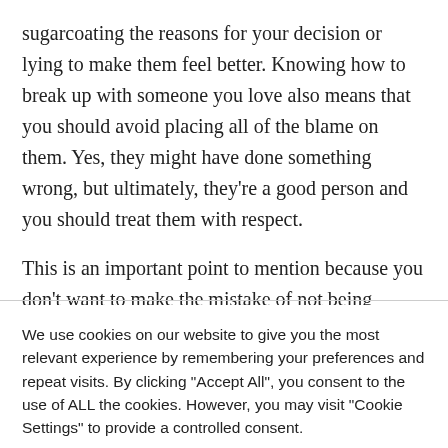sugarcoating the reasons for your decision or lying to make them feel better. Knowing how to break up with someone you love also means that you should avoid placing all of the blame on them. Yes, they might have done something wrong, but ultimately, they're a good person and you should treat them with respect.
This is an important point to mention because you don't want to make the mistake of not being honest when
We use cookies on our website to give you the most relevant experience by remembering your preferences and repeat visits. By clicking "Accept All", you consent to the use of ALL the cookies. However, you may visit "Cookie Settings" to provide a controlled consent.